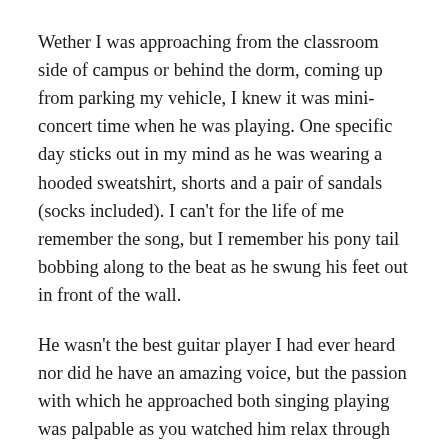Wether I was approaching from the classroom side of campus or behind the dorm, coming up from parking my vehicle, I knew it was mini-concert time when he was playing. One specific day sticks out in my mind as he was wearing a hooded sweatshirt, shorts and a pair of sandals (socks included). I can't for the life of me remember the song, but I remember his pony tail bobbing along to the beat as he swung his feet out in front of the wall.
He wasn't the best guitar player I had ever heard nor did he have an amazing voice, but the passion with which he approached both singing playing was palpable as you watched him relax through making music. I had been a music major, where he had never been one, yet he had